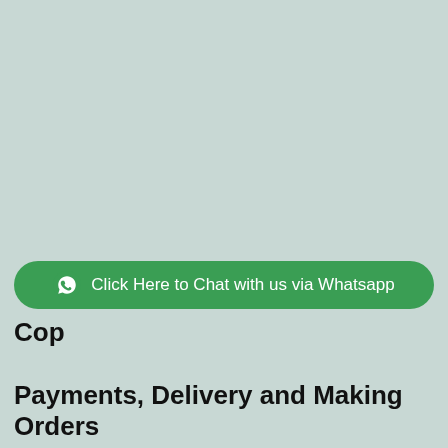[Figure (other): Light grayish-green background area filling the upper portion of the page]
[Figure (other): Green rounded button with WhatsApp icon and text 'Click Here to Chat with us via Whatsapp']
Payments, Delivery and Making Orders